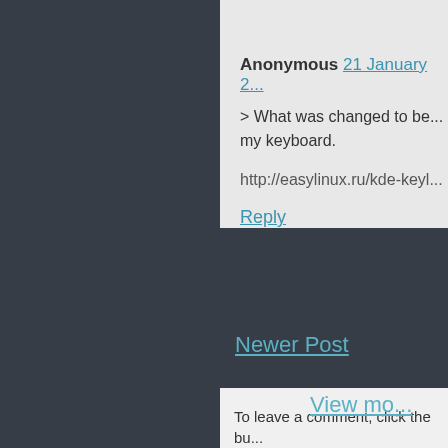Anonymous  21 January 2...
> What was changed to be... my keyboard.
http://easylinux.ru/kde-keyl...
Reply
To leave a comment, click the bu...
SIGN IN WITH GOOGLE
Newer Post
View mo...